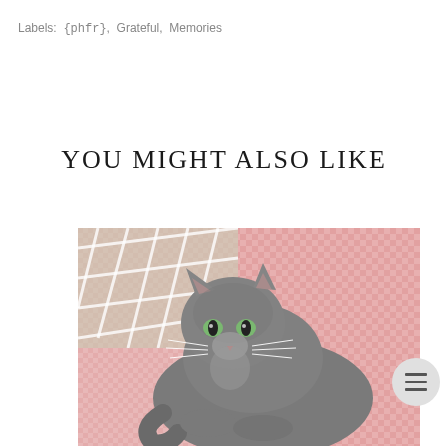Labels:  {phfr},  Grateful,  Memories
YOU MIGHT ALSO LIKE
[Figure (photo): A gray cat with green eyes lying on a pink and white gingham cushion on a white wicker chair, looking directly at the camera.]